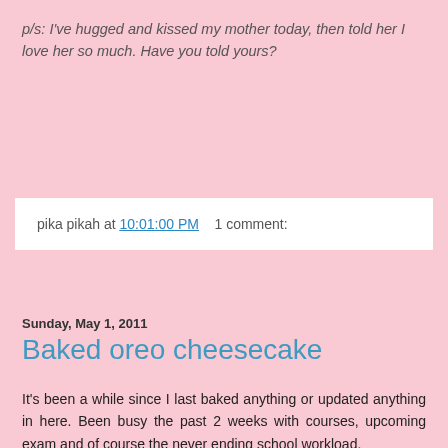p/s: I've hugged and kissed my mother today, then told her I love her so much. Have you told yours?
pika pikah at 10:01:00 PM   1 comment:
Sunday, May 1, 2011
Baked oreo cheesecake
It's been a while since I last baked anything or updated anything in here. Been busy the past 2 weeks with courses, upcoming exam and of course the never ending school workload.
Took the opportunity during the labour day weekend to try a recipe of Oreo cheesecake. The recipe was so plain and easy! It was for a New York cheesecake but I had some Oreo at home and being an Oreo lover that I am, I modified the recipe. Also, I added some golden syrup with sour cream